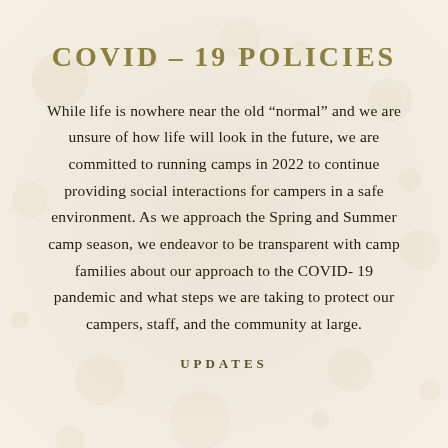COVID–19 POLICIES
While life is nowhere near the old “normal” and we are unsure of how life will look in the future, we are committed to running camps in 2022 to continue providing social interactions for campers in a safe environment. As we approach the Spring and Summer camp season, we endeavor to be transparent with camp families about our approach to the COVID-19 pandemic and what steps we are taking to protect our campers, staff, and the community at large.
UPDATES